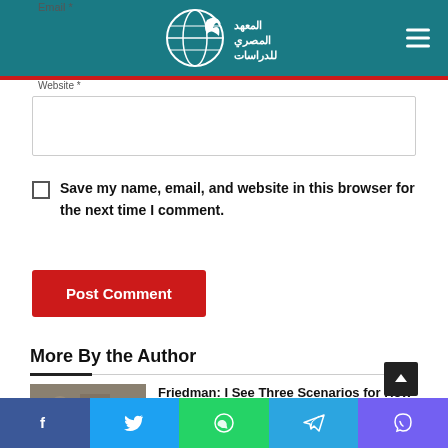[Figure (logo): Egyptian Institute for Studies logo with globe and Arabic text on teal background]
Email *
Website *
Save my name, email, and website in this browser for the next time I comment.
Post Comment
More By the Author
Friedman: I See Three Scenarios for How This War Ends
[Figure (photo): Thumbnail image of war/conflict scene]
Social sharing bar: Facebook, Twitter, WhatsApp, Telegram, Viber